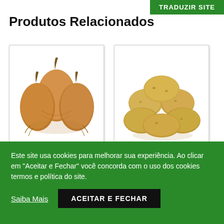TRADUZIR SITE
Produtos Relacionados
[Figure (photo): Three golden-brown onions grouped together on white background]
[Figure (photo): A pile of yellow potatoes on white background]
Este site usa cookies para melhorar sua experiência. Ao clicar em "Aceitar e Fechar" você concorda com o uso dos cookies termos e política do site.
Saiba Mais
ACEITAR E FECHAR